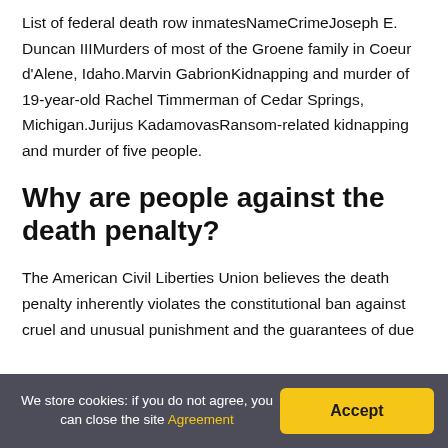List of federal death row inmatesNameCrimeJoseph E. Duncan IIIMurders of most of the Groene family in Coeur d'Alene, Idaho.Marvin GabrionKidnapping and murder of 19-year-old Rachel Timmerman of Cedar Springs, Michigan.Jurijus KadamovasRansom-related kidnapping and murder of five people.
Why are people against the death penalty?
The American Civil Liberties Union believes the death penalty inherently violates the constitutional ban against cruel and unusual punishment and the guarantees of due
We store cookies: if you do not agree, you can close the site Agreement